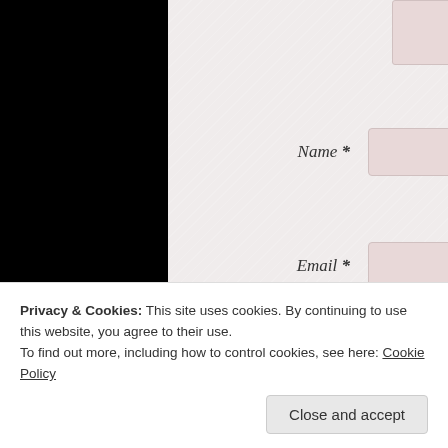[Figure (screenshot): Comment form textarea (partially visible at top), with a pink/rose background input box with resize handle]
Name *
[Figure (screenshot): Name input field — pink/rose background, rounded corners]
Email *
[Figure (screenshot): Email input field — pink/rose background, rounded corners]
Website
[Figure (screenshot): Website input field — white background, rounded corners]
Post Comment
Notify me of new comments via email.
Privacy & Cookies: This site uses cookies. By continuing to use this website, you agree to their use.
To find out more, including how to control cookies, see here: Cookie Policy
Close and accept